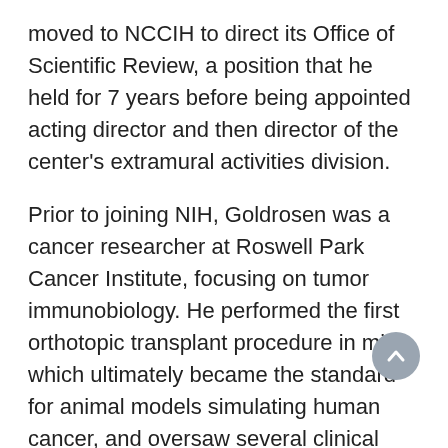moved to NCCIH to direct its Office of Scientific Review, a position that he held for 7 years before being appointed acting director and then director of the center's extramural activities division.
Prior to joining NIH, Goldrosen was a cancer researcher at Roswell Park Cancer Institute, focusing on tumor immunobiology. He performed the first orthotopic transplant procedure in mice, which ultimately became the standard for animal models simulating human cancer, and oversaw several clinical immunology research programs. Concurrently, he was a research professor of experimental pathology at the State University of New York at Buffalo, where he trained dozens of doctoral and postdoctoral students who went on to